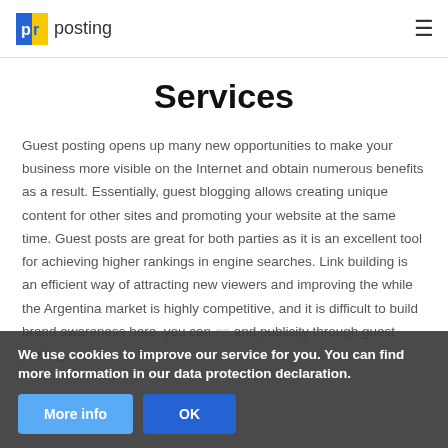pr posting
Services
Guest posting opens up many new opportunities to make your business more visible on the Internet and obtain numerous benefits as a result. Essentially, guest blogging allows creating unique content for other sites and promoting your website at the same time. Guest posts are great for both parties as it is an excellent tool for achieving higher rankings in engine searches. Link building is an efficient way of attracting new viewers and improving the while the Argentina market is highly competitive, and it is difficult to build brand awareness here, you can and publicity through guest posting.
We use cookies to improve our service for you. You can find more information in our data protection declaration.